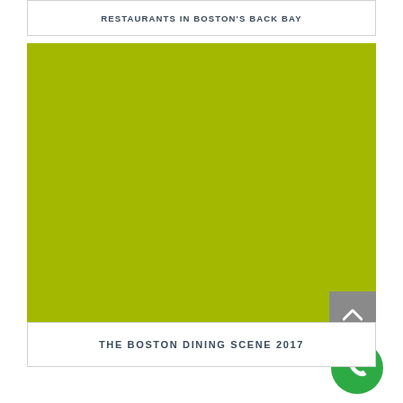RESTAURANTS IN BOSTON'S BACK BAY
[Figure (photo): Large olive/yellow-green solid color image block, appears to be a placeholder or heavily filtered photo]
THE BOSTON DINING SCENE 2017